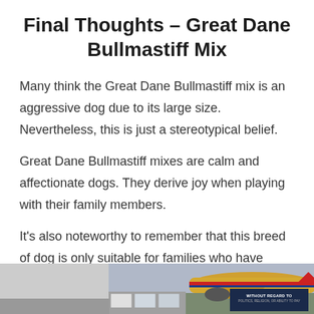Final Thoughts – Great Dane Bullmastiff Mix
Many think the Great Dane Bullmastiff mix is an aggressive dog due to its large size. Nevertheless, this is just a stereotypical belief.
Great Dane Bullmastiff mixes are calm and affectionate dogs. They derive joy when playing with their family members.
It's also noteworthy to remember that this breed of dog is only suitable for families who have large
[Figure (photo): Advertisement banner showing an airplane being loaded with cargo, with a dark navy box overlay reading 'WITHOUT REGARD TO POLITICS, RELIGION, OR ABILITY TO PAY']